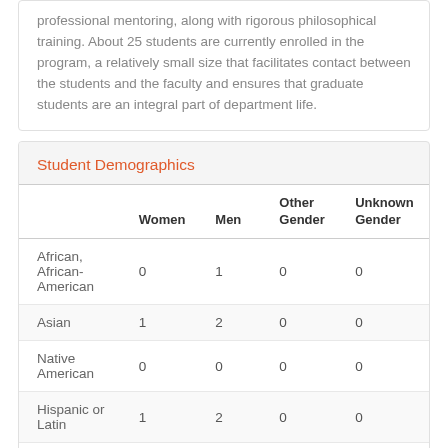professional mentoring, along with rigorous philosophical training. About 25 students are currently enrolled in the program, a relatively small size that facilitates contact between the students and the faculty and ensures that graduate students are an integral part of department life.
Student Demographics
|  | Women | Men | Other Gender | Unknown Gender |
| --- | --- | --- | --- | --- |
| African, African-American | 0 | 1 | 0 | 0 |
| Asian | 1 | 2 | 0 | 0 |
| Native American | 0 | 0 | 0 | 0 |
| Hispanic or Latin | 1 | 2 | 0 | 0 |
| Pacific Islander | 0 | 0 | 0 | 0 |